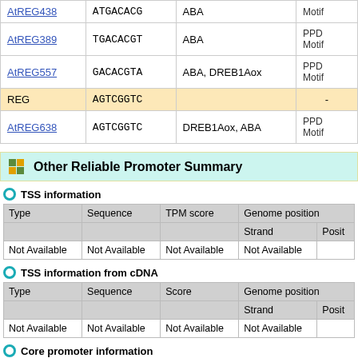|  | Sequence | Hormone/TF |  |
| --- | --- | --- | --- |
| AtREG438 | ATGACACG | ABA | Motif... |
| AtREG389 | TGACACGT | ABA | PPD Motif... |
| AtREG557 | GACACGTA | ABA, DREB1Aox | PPD Motif... |
| REG | AGTCGGTC |  | - |
| AtREG638 | AGTCGGTC | DREB1Aox, ABA | PPD Motif... |
Other Reliable Promoter Summary
TSS information
| Type | Sequence | TPM score | Genome position | Strand | Posit |
| --- | --- | --- | --- | --- | --- |
| Not Available | Not Available | Not Available | Not Available |  |  |
TSS information from cDNA
| Type | Sequence | Score | Genome position | Strand | Posit |
| --- | --- | --- | --- | --- | --- |
| Not Available | Not Available | Not Available | Not Available |  |  |
Core promoter information
| Type | Sequence | Genome position | Strand | Start |
| --- | --- | --- | --- | --- |